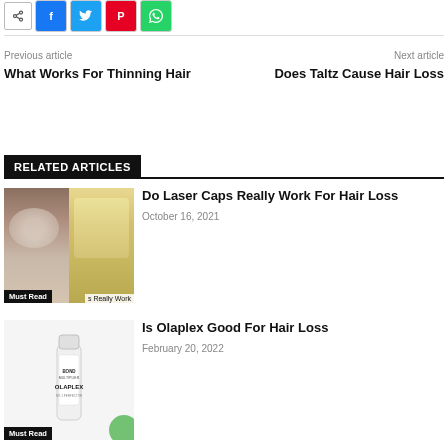[Figure (other): Social share buttons row: share icon, Facebook, Twitter, Pinterest, WhatsApp]
Previous article
What Works For Thinning Hair
Next article
Does Taltz Cause Hair Loss
RELATED ARTICLES
[Figure (photo): Before/after hair loss photo showing thinning scalp and blonde hair]
Must Read
s Really Work
Do Laser Caps Really Work For Hair Loss
October 16, 2021
[Figure (photo): Olaplex hair product bottle]
Must Read
Is Olaplex Good For Hair Loss
February 20, 2022